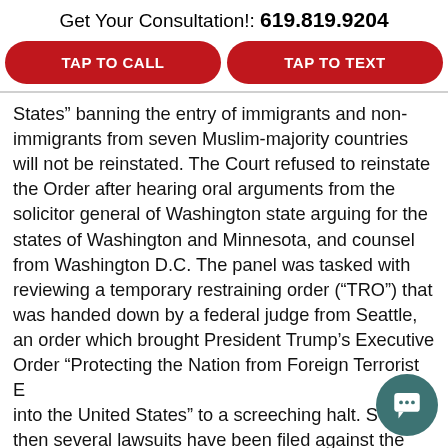Get Your Consultation!: 619.819.9204
TAP TO CALL
TAP TO TEXT
States” banning the entry of immigrants and non-immigrants from seven Muslim-majority countries will not be reinstated. The Court refused to reinstate the Order after hearing oral arguments from the solicitor general of Washington state arguing for the states of Washington and Minnesota, and counsel from Washington D.C. The panel was tasked with reviewing a temporary restraining order (“TRO”) that was handed down by a federal judge from Seattle, an order which brought President Trump’s Executive Order “Protecting the Nation from Foreign Terrorist E… into the United States” to a screeching halt. S… then several lawsuits have been filed against the President’s executive order and are moving their…